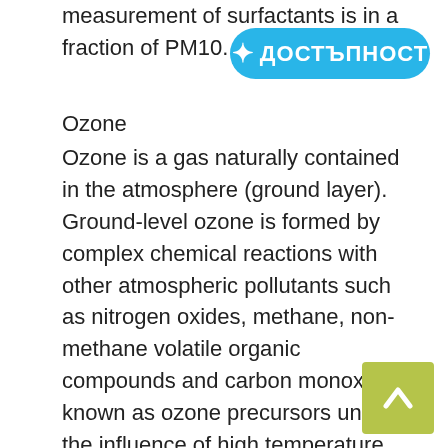measurement of surfactants is in a fraction of PM10.
[Figure (other): Accessibility badge button with Cyrillic text ДОСТЪПНОСТ and person icon, cyan/blue rounded pill shape]
Ozone
Ozone is a gas naturally contained in the atmosphere (ground layer). Ground-level ozone is formed by complex chemical reactions with other atmospheric pollutants such as nitrogen oxides, methane, non-methane volatile organic compounds and carbon monoxide, known as ozone precursors under the influence of high temperature and sunlight. These processes occur most often during the summer period of the year. Ozone is controlled by AMS “Rakovski” – town of Dimitrovgrad and AMS “Studen Kladenets” – of Kardzhali. During the period 2017 – 2019, no
[Figure (other): Scroll-to-top button, olive/yellow-green square with white upward arrow]